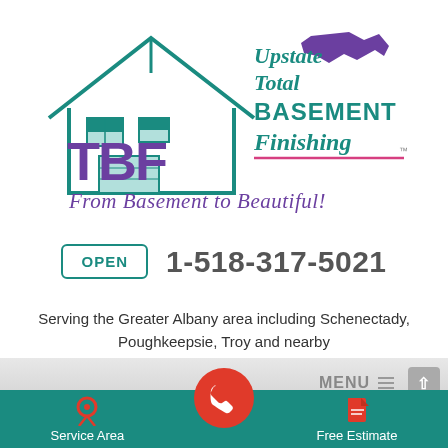[Figure (logo): Upstate Total Basement Finishing (TBF) logo with house outline in teal, TBF letters in purple, New York state silhouette in purple, tagline 'From Basement to Beautiful!' in purple script, decorative line in pink]
OPEN   1-518-317-5021
Serving the Greater Albany area including Schenectady, Poughkeepsie, Troy and nearby
[Figure (screenshot): Bottom navigation bar with MENU button, gray gradient background, teal footer with Service Area (location pin icon), phone call button (red circle with phone icon), and Free Estimate (document icon)]